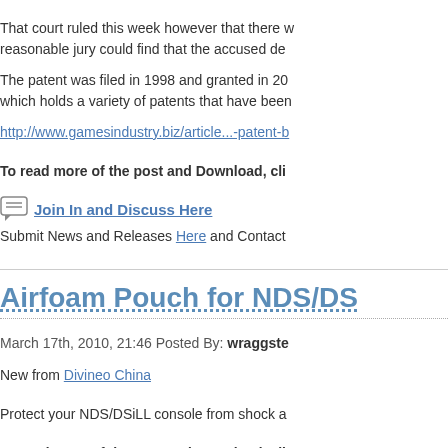That court ruled this week however that there was no reasonable jury could find that the accused de...
The patent was filed in 1998 and granted in 20... which holds a variety of patents that have been...
http://www.gamesindustry.biz/article...-patent-b
To read more of the post and Download, cli...
Join In and Discuss Here
Submit News and Releases Here and Contact
Airfoam Pouch for NDS/DS...
March 17th, 2010, 21:46 Posted By: wraggste...
New from Divineo China
Protect your NDS/DSiLL console from shock a...
To read more of the post and Download, cli...
Join In and Discuss Here
Submit News and Releases Here and Contact